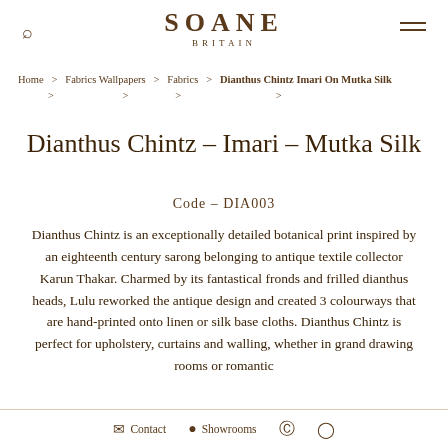SOANE BRITAIN
Home > Fabrics Wallpapers > Fabrics > Dianthus Chintz Imari On Mutka Silk >
Dianthus Chintz - Imari - Mutka Silk
Code - DIA003
Dianthus Chintz is an exceptionally detailed botanical print inspired by an eighteenth century sarong belonging to antique textile collector Karun Thakar. Charmed by its fantastical fronds and frilled dianthus heads, Lulu reworked the antique design and created 3 colourways that are hand-printed onto linen or silk base cloths. Dianthus Chintz is perfect for upholstery, curtains and walling, whether in grand drawing rooms or romantic
Contact  Showrooms